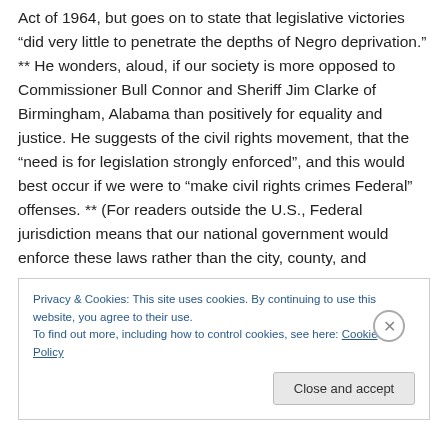Act of 1964, but goes on to state that legislative victories “did very little to penetrate the depths of Negro deprivation.” ** He wonders, aloud, if our society is more opposed to Commissioner Bull Connor and Sheriff Jim Clarke of Birmingham, Alabama than positively for equality and justice. He suggests of the civil rights movement, that the “need is for legislation strongly enforced”, and this would best occur if we were to “make civil rights crimes Federal” offenses. ** (For readers outside the U.S., Federal jurisdiction means that our national government would enforce these laws rather than the city, county, and
Privacy & Cookies: This site uses cookies. By continuing to use this website, you agree to their use.
To find out more, including how to control cookies, see here: Cookie Policy
Close and accept